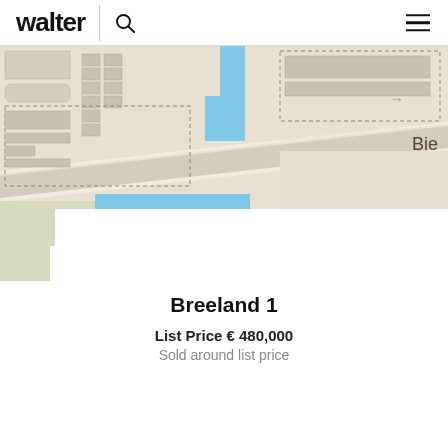walter
[Figure (map): Street map showing Breeland 1 property location with blue building footprints and surrounding streets, partial street name 'Bie' visible]
Breeland 1
List Price € 480,000
Sold around list price